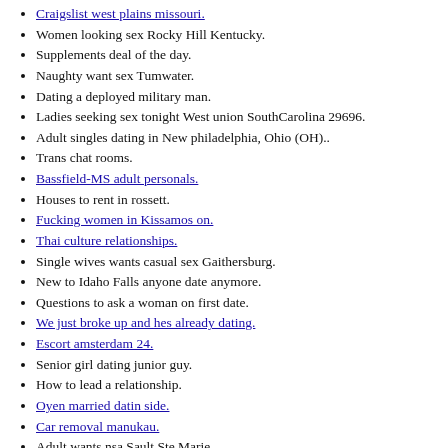Craigslist west plains missouri.
Women looking sex Rocky Hill Kentucky.
Supplements deal of the day.
Naughty want sex Tumwater.
Dating a deployed military man.
Ladies seeking sex tonight West union SouthCarolina 29696.
Adult singles dating in New philadelphia, Ohio (OH)..
Trans chat rooms.
Bassfield-MS adult personals.
Houses to rent in rossett.
Fucking women in Kissamos on.
Thai culture relationships.
Single wives wants casual sex Gaithersburg.
New to Idaho Falls anyone date anymore.
Questions to ask a woman on first date.
We just broke up and hes already dating.
Escort amsterdam 24.
Senior girl dating junior guy.
How to lead a relationship.
Oyen married datin side.
Car removal manukau.
Adult wants nsa Sault Ste Marie.
Masculine Gloucester looking tonight.
Apartments in middle village queens.
Best thai movie.